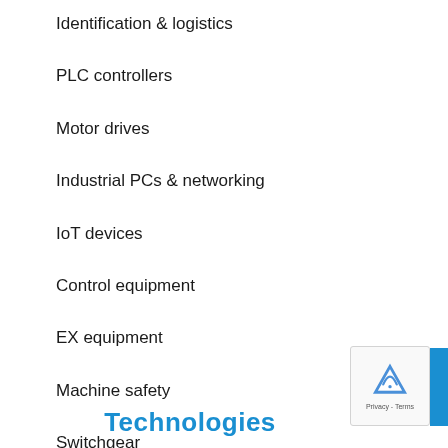Identification & logistics
PLC controllers
Motor drives
Industrial PCs & networking
IoT devices
Control equipment
EX equipment
Machine safety
Switchgear
Other automation devices
Technologies